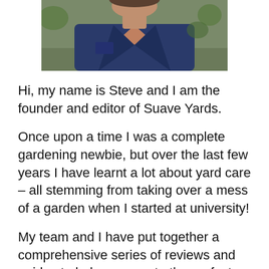[Figure (photo): Photo of Steve, showing upper body, wearing a dark navy jacket, partially visible head at top of frame, with greenery background.]
Hi, my name is Steve and I am the founder and editor of Suave Yards.
Once upon a time I was a complete gardening newbie, but over the last few years I have learnt a lot about yard care – all stemming from taking over a mess of a garden when I started at university!
My team and I have put together a comprehensive series of reviews and guides to help you create the perfect garden.
So please take a look around!